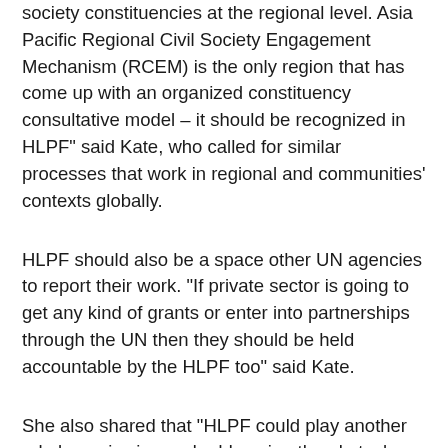society constituencies at the regional level. Asia Pacific Regional Civil Society Engagement Mechanism (RCEM) is the only region that has come up with an organized constituency consultative model – it should be recognized in HLPF" said Kate, who called for similar processes that work in regional and communities' contexts globally.
HLPF should also be a space other UN agencies to report their work. "If private sector is going to get any kind of grants or enter into partnerships through the UN then they should be held accountable by the HLPF too" said Kate.
She also shared that "HLPF could play another role by reviewing and addressing the obstacles to equitable technologies and establish technology-facilitation mechanisms."